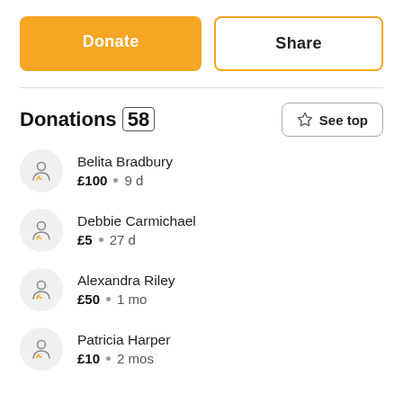Donate
Share
Donations (58)
See top
Belita Bradbury £100 • 9 d
Debbie Carmichael £5 • 27 d
Alexandra Riley £50 • 1 mo
Patricia Harper £10 • 2 mos